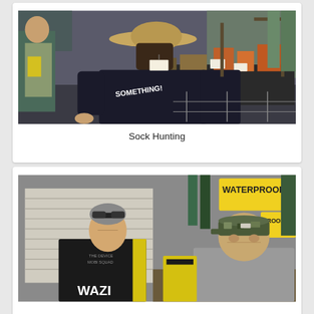[Figure (photo): A person wearing a wide-brimmed hat and a black t-shirt with 'SOMETHING!' text, browsing items on a display table in what appears to be an outdoor/hunting gear store.]
Sock Hunting
[Figure (photo): Two older men in conversation inside a store. One wears a black polo shirt with yellow accents and has sunglasses on his head; the other wears a camo cap and gray jacket. A yellow 'WATERPROOF' sign is visible in the background.]